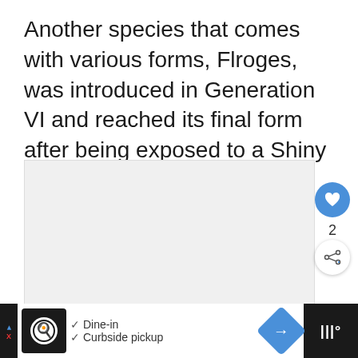Another species that comes with various forms, Flroges, was introduced in Generation VI and reached its final form after being exposed to a Shiny Stone.
[Figure (other): Slide/image carousel area showing a light gray placeholder image with social interaction buttons (heart/like button showing count of 2, share button) on the right side, and a 'What's Next' panel showing Top 10 Best Mushroom... with a thumbnail, and three pagination dots at the bottom.]
[Figure (other): Advertisement bar at the bottom showing a restaurant icon, checkmarks for Dine-in and Curbside pickup options, a blue navigation diamond button, and a dark right panel with signal/weather icon.]